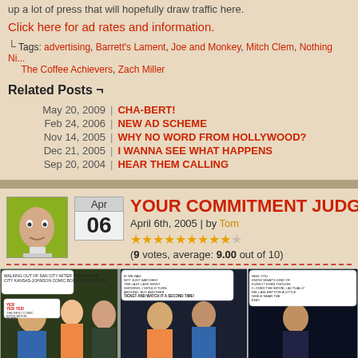up a lot of press that will hopefully draw traffic here.
Click here for ad rates and information.
Tags: advertising, Barrett's Lament, Joe and Monkey, Mitch Clem, Nothing Ni..., The Coffee Achievers, Zach Miller
Related Posts ¬
May 20, 2009 | CHA-BERT!
Feb 24, 2006 | NEW AD SCHEME
Nov 14, 2005 | WHY NO WORD FROM HOLLYWOOD?
Dec 21, 2005 | I WANNA SEE WHAT HAPPENS
Sep 20, 2004 | HEAR THEM CALLING
YOUR COMMITMENT JUDGE...
April 6th, 2005 | by Tom
(9 votes, average: 9.00 out of 10)
[Figure (illustration): Comic strip showing three people walking out of San Diego after a comic book convention, discussing a movie they watched.]